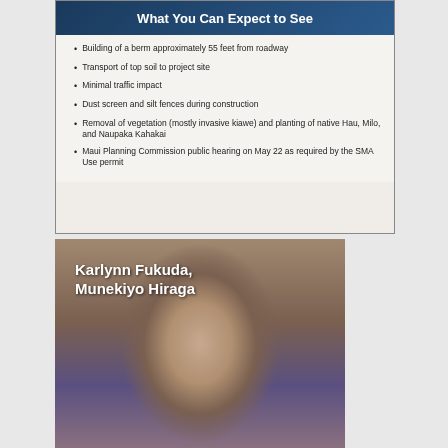[Figure (screenshot): Presentation slide titled 'What You Can Expect to See' with a dark blue header and bullet points listing construction and environmental activities on a light background.]
[Figure (photo): Photo of a woman identified as Karlynn Fukuda from Munekiyo Hiraga, wearing a purple sleeveless top with a name tag, looking downward. Text overlay shows her name and affiliation.]